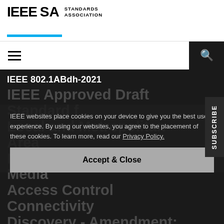IEEE SA STANDARDS ASSOCIATION
[Figure (logo): IEEE SA Standards Association logo with cyan underline bar]
IEEE 802.1ABdh-2021
IEEE Approved Draft Standard for Local and Metropolitan Area Networks- Station and Media Access Control Connectivity Discovery - Amendment: Support for Multiframe Protocol Data Units
IEEE websites place cookies on your device to give you the best user experience. By using our websites, you agree to the placement of these cookies. To learn more, read our Privacy Policy.
Accept & Close